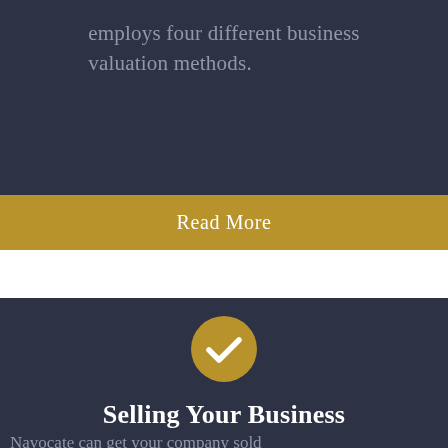employs four different business valuation methods.
Read More
[Figure (illustration): Gold circle with white checkmark icon]
Selling Your Business
Navocate can get your company sold efficiently, and more importantly, to the